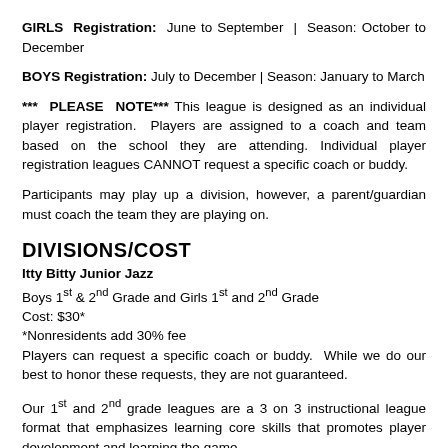GIRLS Registration: June to September | Season: October to December
BOYS Registration: July to December | Season: January to March
*** PLEASE NOTE*** This league is designed as an individual player registration. Players are assigned to a coach and team based on the school they are attending. Individual player registration leagues CANNOT request a specific coach or buddy.
Participants may play up a division, however, a parent/guardian must coach the team they are playing on.
DIVISIONS/COST
Itty Bitty Junior Jazz
Boys 1st & 2nd Grade and Girls 1st and 2nd Grade
Cost: $30*
*Nonresidents add 30% fee
Players can request a specific coach or buddy. While we do our best to honor these requests, they are not guaranteed.
Our 1st and 2nd grade leagues are a 3 on 3 instructional league format that emphasizes learning core skills that promotes player development and learning the game.